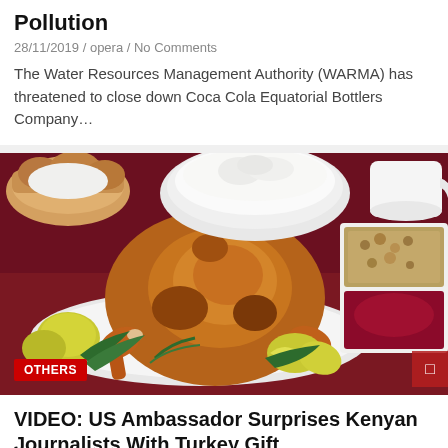Pollution
28/11/2019 / opera / No Comments
The Water Resources Management Authority (WARMA) has threatened to close down Coca Cola Equatorial Bottlers Company…
[Figure (photo): A roasted turkey on a platter surrounded by lemons, herbs, and Thanksgiving side dishes including mashed potatoes, stuffing, and cranberry sauce on a dark red tablecloth. A red 'OTHERS' badge is overlaid in the bottom-left corner.]
VIDEO: US Ambassador Surprises Kenyan Journalists With Turkey Gift